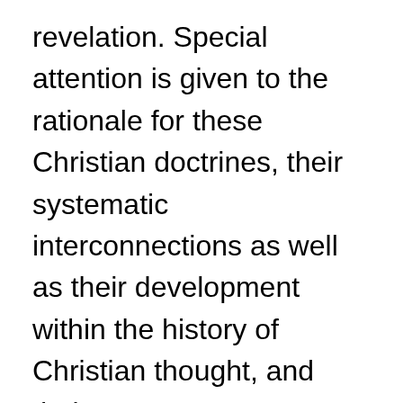revelation. Special attention is given to the rationale for these Christian doctrines, their systematic interconnections as well as their development within the history of Christian thought, and their contemporary challenges. This class is your opportunity to reinforce why you believe what you believe and to examine how it impacts your life.
~15-20 students, graduate, non